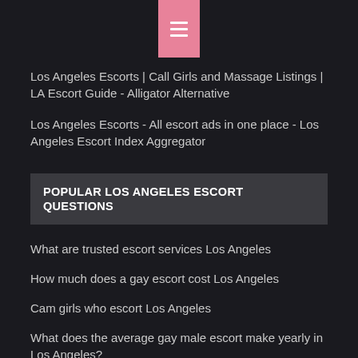Los Angeles Escorts | Call Girls and Massage Listings | LA Escort Guide - Alligator Alternative
Los Angeles Escorts - All escort ads in one place - Los Angeles Escort Index Aggregator
POPULAR LOS ANGELES ESCORT QUESTIONS
What are trusted escort services Los Angeles
How much does a gay escort cost Los Angeles
Cam girls who escort Los Angeles
What does the average gay male escort make yearly in Los Angeles?
How is the escort business doing in Los Angeles